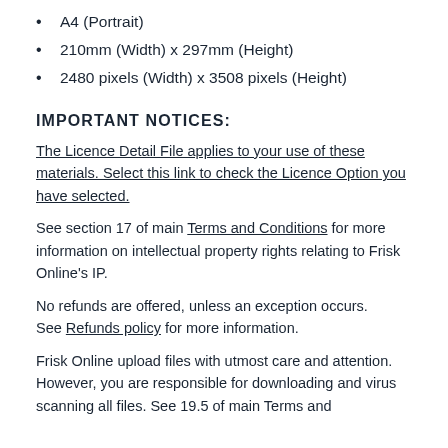A4 (Portrait)
210mm (Width) x 297mm (Height)
2480 pixels (Width) x 3508 pixels (Height)
IMPORTANT NOTICES:
The Licence Detail File applies to your use of these materials. Select this link to check the Licence Option you have selected.
See section 17 of main Terms and Conditions for more information on intellectual property rights relating to Frisk Online's IP.
No refunds are offered, unless an exception occurs. See Refunds policy for more information.
Frisk Online upload files with utmost care and attention. However, you are responsible for downloading and virus scanning all files. See 19.5 of main Terms and